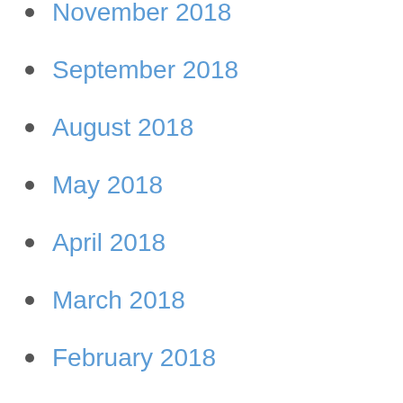November 2018
September 2018
August 2018
May 2018
April 2018
March 2018
February 2018
January 2018
November 2017
October 2017
September 2017
June 2017
May 2017
March 2017
December 2016